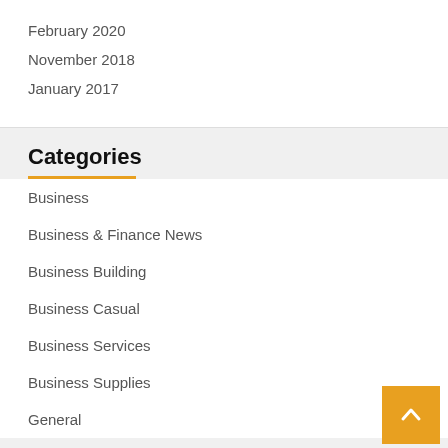February 2020
November 2018
January 2017
Categories
Business
Business & Finance News
Business Building
Business Casual
Business Services
Business Supplies
General